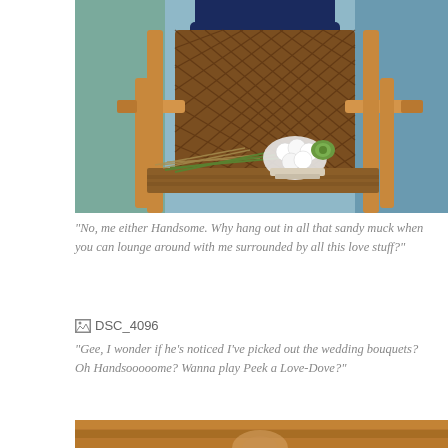[Figure (photo): A wicker rocking chair with a white rose bouquet and dried flowers resting on the seat, wooden armrests, blue cushion at top, on a porch with light blue wall background.]
"No, me either Handsome. Why hang out in all that sandy muck when you can lounge around with me surrounded by all this love stuff?"
[Figure (other): Broken image icon labeled DSC_4096]
"Gee, I wonder if he's noticed I've picked out the wedding bouquets? Oh Handsooooome? Wanna play Peek a Love-Dove?"
[Figure (photo): Bottom portion of another photo, showing close-up of wicker/rope chair texture with blurred background, warm brown tones.]